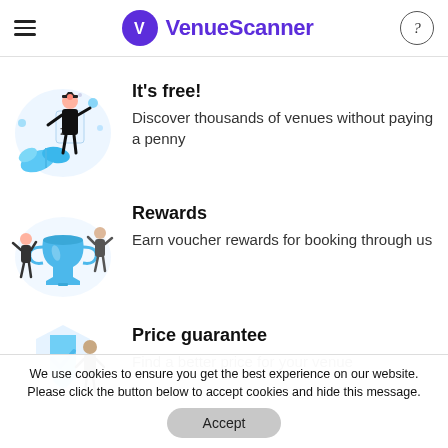VenueScanner
[Figure (illustration): Illustration of a person in graduation gown with £ symbol and blue leaves/shapes]
It's free!
Discover thousands of venues without paying a penny
[Figure (illustration): Illustration of two people celebrating next to a large blue trophy cup]
Rewards
Earn voucher rewards for booking through us
[Figure (illustration): Illustration of a person with a shield/checkmark for price guarantee]
Price guarantee
Find a better price for your venue
We use cookies to ensure you get the best experience on our website. Please click the button below to accept cookies and hide this message.